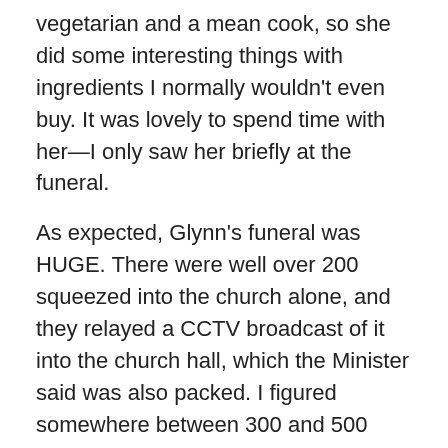vegetarian and a mean cook, so she did some interesting things with ingredients I normally wouldn't even buy. It was lovely to spend time with her—I only saw her briefly at the funeral.
As expected, Glynn's funeral was HUGE. There were well over 200 squeezed into the church alone, and they relayed a CCTV broadcast of it into the church hall, which the Minister said was also packed. I figured somewhere between 300 and 500 people attended. The service (eucharist?) was very long and quite religious. Only two eulogies were given—one by one of Glynn's ex-Deputy Principals, and one by his daughter Gina. Both were very funny and very sad. Gina did an amazing job of holding it together and gave a wonderful snapshot of her beloved father. After the service, the congregation was asked to follow Glynn's coffin as it was taken to the hearse. And